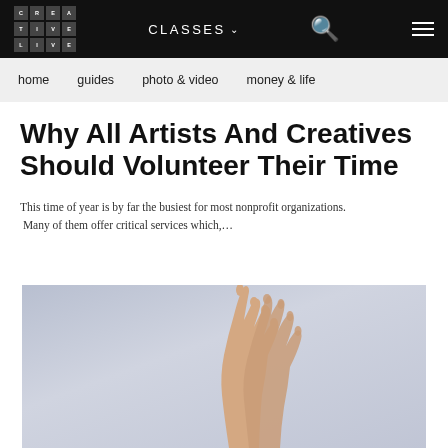CREA TIVE LIVE | CLASSES | [search] | [menu]
home | guides | photo & video | money & life
Why All Artists And Creatives Should Volunteer Their Time
This time of year is by far the busiest for most nonprofit organizations. Many of them offer critical services which,...
[Figure (photo): Two hands reaching upward against a light gray/blue background, fingers extended, one hand grasping the wrist of the other]